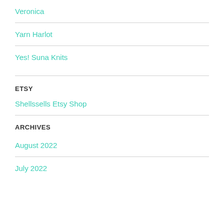Veronica
Yarn Harlot
Yes! Suna Knits
ETSY
Shellssells Etsy Shop
ARCHIVES
August 2022
July 2022